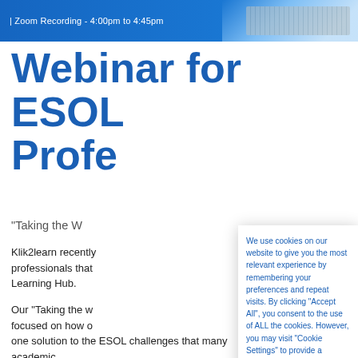[Figure (screenshot): Blue banner header with white text reading '| Zoom Recording - 4:00pm to 4:45pm' and an image of hands typing on a keyboard on the right side]
Webinar for ESOL Profe
“Taking the W
Klik2learn recently ... professionals that ... Learning Hub.
Our “Taking the w ... focused on how o ... one solution to the ESOL challenges that many academic ...
We use cookies on our website to give you the most relevant experience by remembering your preferences and repeat visits. By clicking “Accept All”, you consent to the use of ALL the cookies. However, you may visit "Cookie Settings" to provide a controlled consent.